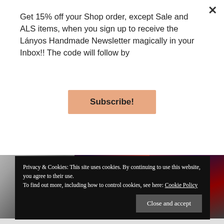Get 15% off your Shop order, except Sale and ALS items, when you sign up to receive the Lányos Handmade Newsletter magically in your Inbox!! The code will follow by
Subscribe!
[Figure (photo): Three fashion photos showing models wearing long dark patterned coats/wraps outdoors in winter/autumn settings.]
Privacy & Cookies: This site uses cookies. By continuing to use this website, you agree to their use. To find out more, including how to control cookies, see here: Cookie Policy
Close and accept